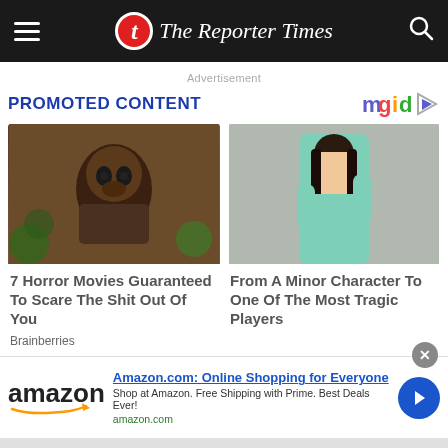The Reporter Times
Advertisement
PROMOTED CONTENT
[Figure (logo): mgid logo with colored letters and play button]
[Figure (photo): Dark creepy baby doll from a horror movie scene with broccoli in background]
7 Horror Movies Guaranteed To Scare The Shit Out Of You
Brainberries
[Figure (photo): Young Asian woman in mint green outfit posing against gray wall]
From A Minor Character To One Of The Most Tragic Players
Amazon.com: Online Shopping for Everyone
Shop at Amazon. Free Shipping with Prime. Best Deals Ever!
amazon.com